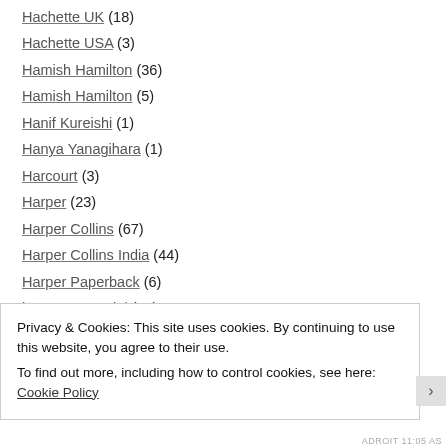Hachette UK (18)
Hachette USA (3)
Hamish Hamilton (36)
Hamish Hamilton (5)
Hanif Kureishi (1)
Hanya Yanagihara (1)
Harcourt (3)
Harper (23)
Harper Collins (67)
Harper Collins India (44)
Harper Paperback (6)
harper perennial (11)
Privacy & Cookies: This site uses cookies. By continuing to use this website, you agree to their use. To find out more, including how to control cookies, see here: Cookie Policy
ADROIT 11:05 AS